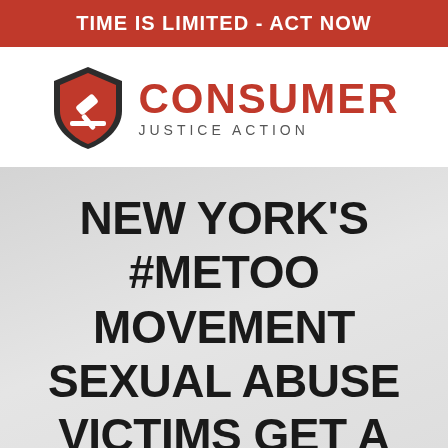TIME IS LIMITED - ACT NOW
[Figure (logo): Consumer Justice Action logo: red shield with gavel icon, bold red CONSUMER text, gray JUSTICE ACTION subtitle]
NEW YORK'S #METOO MOVEMENT SEXUAL ABUSE VICTIMS GET A SECOND CHANCE FOR JUSTICE AND